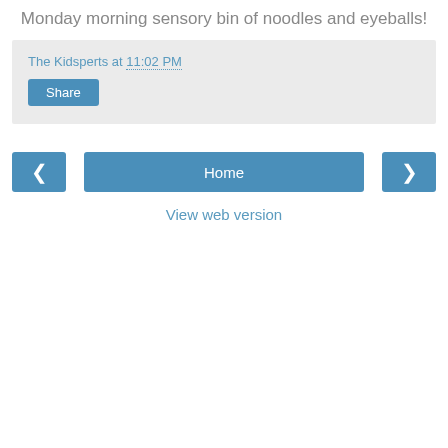Monday morning sensory bin of noodles and eyeballs!
The Kidsperts at 11:02 PM
Share
‹
Home
›
View web version